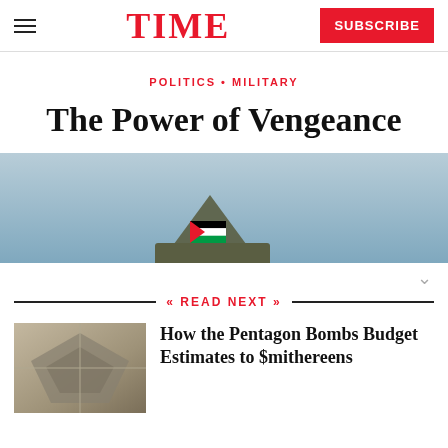TIME
POLITICS • MILITARY
The Power of Vengeance
[Figure (photo): Photograph of an airplane tail fin with a Jordanian flag emblem, against a light blue sky background]
READ NEXT
[Figure (photo): Aerial photograph of a military or government building complex]
How the Pentagon Bombs Budget Estimates to $mithereens